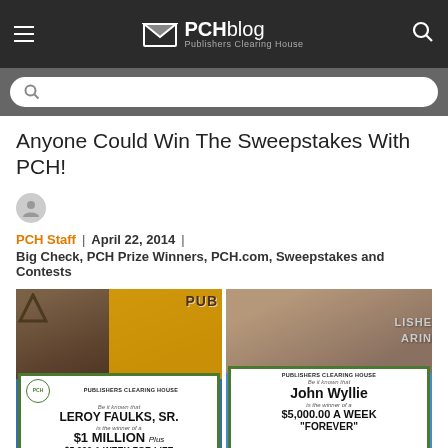PCHblog Publishers Clearing House
Anyone Could Win The Sweepstakes With PCH!
PCH Staff | April 22, 2014 | Big Check, PCH Prize Winners, PCH.com, Sweepstakes and Contests
[Figure (photo): Photo of Leroy Faulks Sr. holding a Publishers Clearing House big check for $1 Million Plus $5,000 A Week For Life Mega Prize]
[Figure (photo): Photo of John Wyllie holding a Publishers Clearing House big check for $5,000.00 A Week Forever]